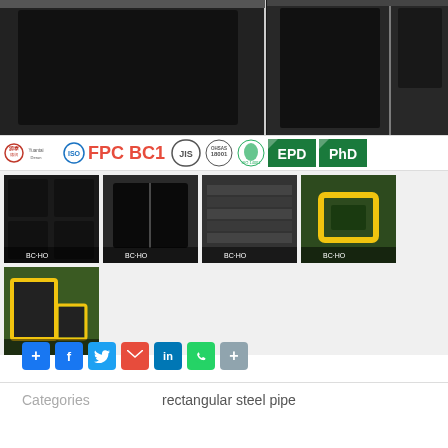[Figure (photo): Product gallery showing rectangular steel pipes and tubes. Main large image shows close-up of dark square/rectangular steel pipe ends. Below is a certification logos bar (Yuantai Derun, ISO, FPC BC1, CE, JIS, OHSAS 18001, ISO 14001, EPD, PHD). Five thumbnail images show various views: square tube cross-sections, hollow section interior, stacked flat steel, yellow-framed rectangular pipe, and warehouse with yellow framed rectangular steel pipes.]
Categories    rectangular steel pipe